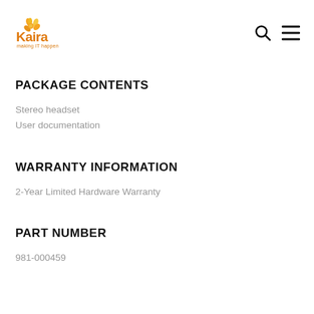Kaira — making IT happen
PACKAGE CONTENTS
Stereo headset
User documentation
WARRANTY INFORMATION
2-Year Limited Hardware Warranty
PART NUMBER
981-000459